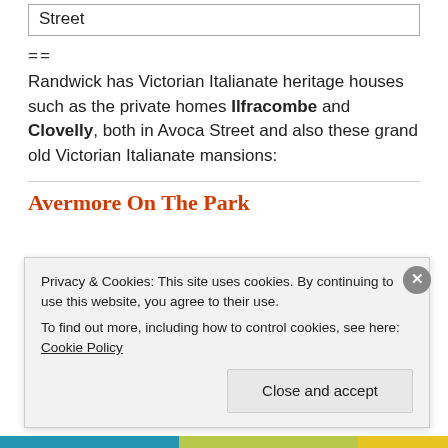Street
==
Randwick has Victorian Italianate heritage houses such as the private homes Ilfracombe and Clovelly, both in Avoca Street and also these grand old Victorian Italianate mansions:
Avermore On The Park
Privacy & Cookies: This site uses cookies. By continuing to use this website, you agree to their use.
To find out more, including how to control cookies, see here: Cookie Policy